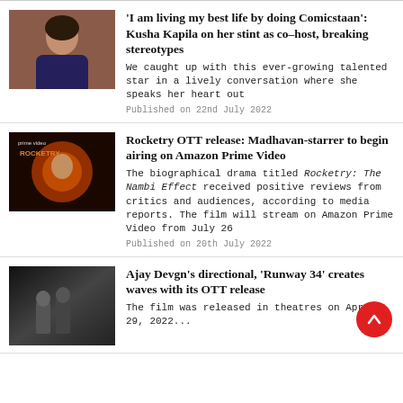[Figure (photo): Photo of Kusha Kapila in a dark blue outfit against a brown background]
'I am living my best life by doing Comicstaan': Kusha Kapila on her stint as co-host, breaking stereotypes
We caught up with this ever-growing talented star in a lively conversation where she speaks her heart out
Published on 22nd July 2022
[Figure (photo): Movie poster for Rocketry: The Nambi Effect on Prime Video with fiery orange background]
Rocketry OTT release: Madhavan-starrer to begin airing on Amazon Prime Video
The biographical drama titled Rocketry: The Nambi Effect received positive reviews from critics and audiences, according to media reports. The film will stream on Amazon Prime Video from July 26
Published on 20th July 2022
[Figure (photo): Dark still from Runway 34 showing two men in suits]
Ajay Devgn's directional, 'Runway 34' creates waves with its OTT release
The film was released in theatres on April 29, 2022...